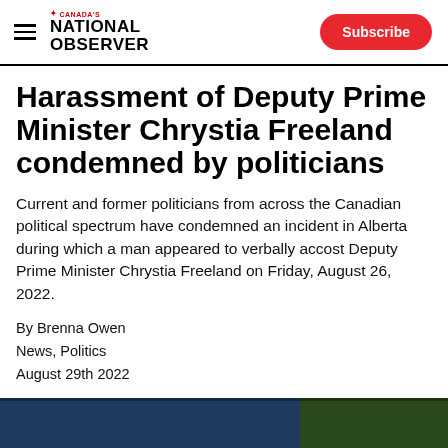Canada's National Observer — Subscribe
Harassment of Deputy Prime Minister Chrystia Freeland condemned by politicians
Current and former politicians from across the Canadian political spectrum have condemned an incident in Alberta during which a man appeared to verbally accost Deputy Prime Minister Chrystia Freeland on Friday, August 26, 2022.
By Brenna Owen
News, Politics
August 29th 2022
[Figure (infographic): Social media sharing icons: Facebook, Twitter, Reddit, LinkedIn, WhatsApp, Email]
[Figure (photo): Partial image of a news photograph at the bottom of the page, dark blue tones]